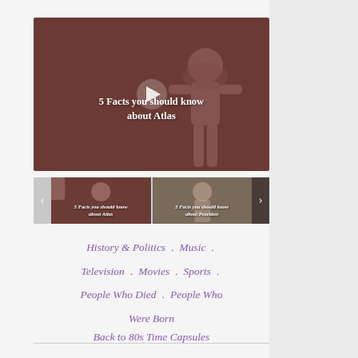[Figure (screenshot): Main video thumbnail with dark brownish-red background showing Atlas figure silhouette and play button. Text reads '5 Facts you should know about Atlas']
[Figure (screenshot): Thumbnail strip carousel with left/right navigation arrows. Two visible thumbnails: first labeled '5 Facts you should know about Atlas', second labeled '5 Facts you should know about Poseidon']
History & Politics . Music . Television . Movies . Sports . People Who Died . People Who Were Born
Back to 80s Time Capsules